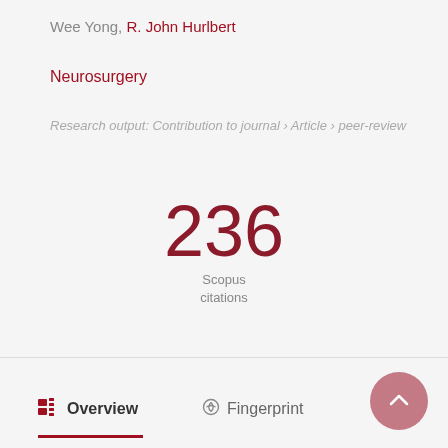Wee Yong, R. John Hurlbert
Neurosurgery
Research output: Contribution to journal › Article › peer-review
236 Scopus citations
Overview   Fingerprint